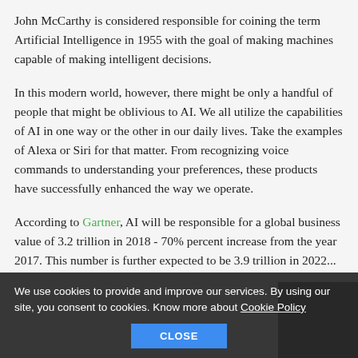John McCarthy is considered responsible for coining the term Artificial Intelligence in 1955 with the goal of making machines capable of making intelligent decisions.
In this modern world, however, there might be only a handful of people that might be oblivious to AI. We all utilize the capabilities of AI in one way or the other in our daily lives. Take the examples of Alexa or Siri for that matter. From recognizing voice commands to understanding your preferences, these products have successfully enhanced the way we operate.
According to Gartner, AI will be responsible for a global business value of 3.2 trillion in 2018 - 70% percent increase from the year 2017. This number is further expected to be 3.9 trillion in 2022...
We use cookies to provide and improve our services. By using our site, you consent to cookies. Know more about Cookie Policy